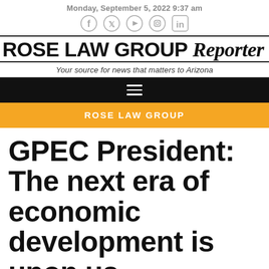Monday, September 5, 2022 9:37 am
ROSE LAW GROUP Reporter
Your source for news that matters to Arizona
ROSE LAW GROUP
GPEC President: The next era of economic development is upon us